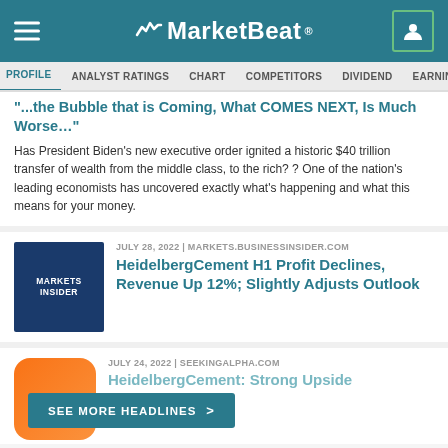MarketBeat
PROFILE | ANALYST RATINGS | CHART | COMPETITORS | DIVIDEND | EARNINGS
"...the Bubble that is Coming, What COMES NEXT, Is Much Worse…"
Has President Biden's new executive order ignited a historic $40 trillion transfer of wealth from the middle class, to the rich? ? One of the nation's leading economists has uncovered exactly what's happening and what this means for your money.
JULY 28, 2022 | MARKETS.BUSINESSINSIDER.COM
HeidelbergCement H1 Profit Declines, Revenue Up 12%; Slightly Adjusts Outlook
JULY 24, 2022 | SEEKINGALPHA.COM
HeidelbergCement: Strong Upside
SEE MORE HEADLINES >